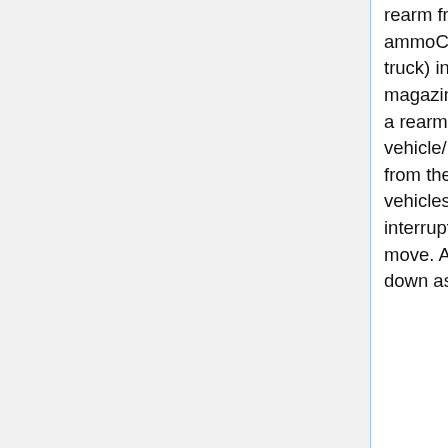rearm from any object with some ammoCargo (generally an ammo truck) in the case of vehicles, or some magazines in it's cargo in the case of a rearming person. The rearming vehicle/person can be any distance from the rearming object. Rearming vehicles takes some time and will be interrupted if the vehicle starts to move. A rearming person will bend down as if picking up